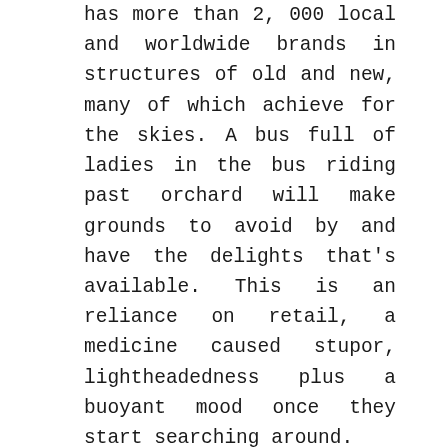has more than 2, 000 local and worldwide brands in structures of old and new, many of which achieve for the skies. A bus full of ladies in the bus riding past orchard will make grounds to avoid by and have the delights that's available. This is an reliance on retail, a medicine caused stupor, lightheadedness plus a buoyant mood once they start searching around.
Additionally is that they get treated like royalty in Singapore. Departmental stores are created to make their retail experience as fluid so when velvety as you can. Correctly trained concierge staff, retail staff and cashiers who appear to experience a smile transfixed by themselves face plus a warm greeting always round the tip from the tongue are predominant in many these shops. Shopping can be a enjoy Singapore – because of the fact the u . s .